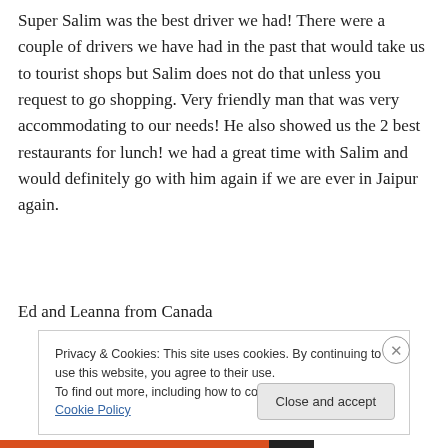Super Salim was the best driver we had! There were a couple of drivers we have had in the past that would take us to tourist shops but Salim does not do that unless you request to go shopping. Very friendly man that was very accommodating to our needs! He also showed us the 2 best restaurants for lunch! we had a great time with Salim and would definitely go with him again if we are ever in Jaipur again.
Ed and Leanna from Canada
Privacy & Cookies: This site uses cookies. By continuing to use this website, you agree to their use.
To find out more, including how to control cookies, see here: Cookie Policy